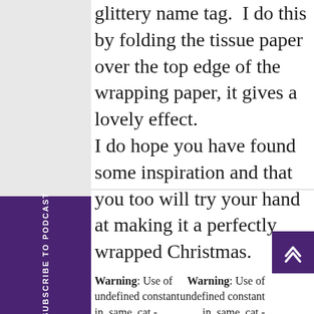glittery name tag.  I do this by folding the tissue paper over the top edge of the wrapping paper, it gives a lovely effect.
I do hope you have found some inspiration and that you too will try your hand at making it a perfectly wrapped Christmas.
Subscribe to Podcast
Warning: Use of undefined constant in_same_cat - assumed
Warning: Use of undefined constant in_same_cat - assumed